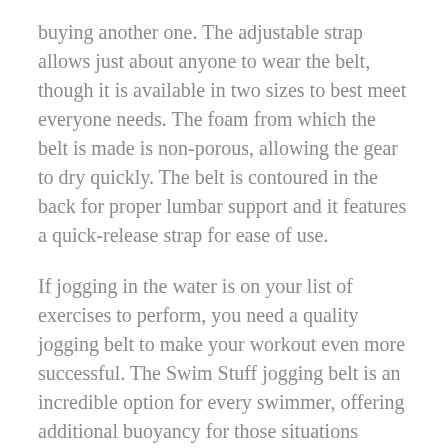buying another one. The adjustable strap allows just about anyone to wear the belt, though it is available in two sizes to best meet everyone needs. The foam from which the belt is made is non-porous, allowing the gear to dry quickly. The belt is contoured in the back for proper lumbar support and it features a quick-release strap for ease of use.
If jogging in the water is on your list of exercises to perform, you need a quality jogging belt to make your workout even more successful. The Swim Stuff jogging belt is an incredible option for every swimmer, offering additional buoyancy for those situations where you are jogging through deep water, as well as a long list of other features to make your workout successful. Don't attempt to jog through the water without one of these incredible belts.